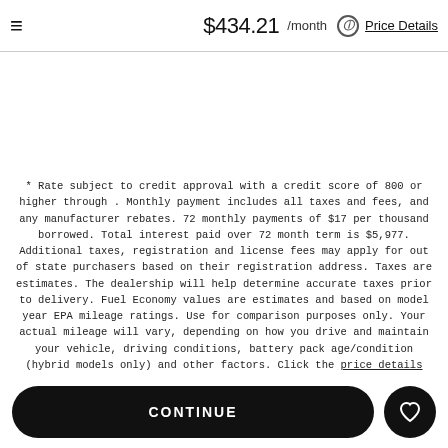≡  $434.21 /month ⓘ Price Details
* Rate subject to credit approval with a credit score of 800 or higher through . Monthly payment includes all taxes and fees, and any manufacturer rebates. 72 monthly payments of $17 per thousand borrowed. Total interest paid over 72 month term is $5,977. Additional taxes, registration and license fees may apply for out of state purchasers based on their registration address. Taxes are estimates. The dealership will help determine accurate taxes prior to delivery. Fuel Economy values are estimates and based on model year EPA mileage ratings. Use for comparison purposes only. Your actual mileage will vary, depending on how you drive and maintain your vehicle, driving conditions, battery pack age/condition (hybrid models only) and other factors. Click the price details link to view detailed pricing breakdown.
CONTINUE